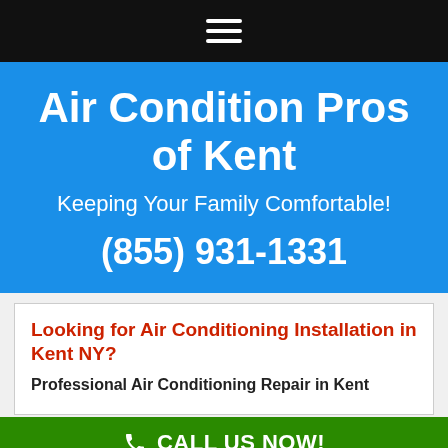[Figure (other): Black navigation bar with white hamburger menu icon (three horizontal lines)]
Air Condition Pros of Kent
Keeping Your Family Comfortable!
(855) 931-1331
Looking for Air Conditioning Installation in Kent NY?
Professional Air Conditioning Repair in Kent
CALL US NOW!